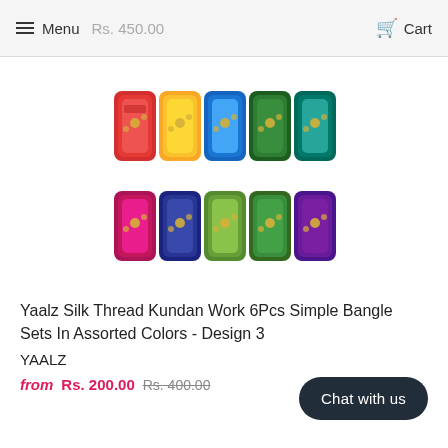Menu  Rs. 450.00    Cart
[Figure (photo): Colorful silk thread kundan work bangles arranged in two rows showing multiple color sets including red, yellow, blue, green, pink, and purple colors with decorative kundan work]
Yaalz Silk Thread Kundan Work 6Pcs Simple Bangle Sets In Assorted Colors - Design 3
YAALZ
from Rs. 200.00  Rs. 400.00
Chat with us